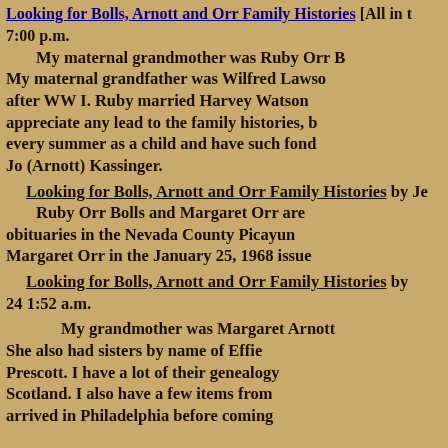Looking for Bolls, Arnott and Orr Family Histories [All in t…
7:00 p.m.
My maternal grandmother was Ruby Orr B… My maternal grandfather was Wilfred Lawso… after WW I. Ruby married Harvey Watson… appreciate any lead to the family histories, b… every summer as a child and have such fond … Jo (Arnott) Kassinger.
Looking for Bolls, Arnott and Orr Family Histories by Je… Ruby Orr Bolls and Margaret Orr are… obituaries in the Nevada County Picayun… Margaret Orr in the January 25, 1968 issue…
Looking for Bolls, Arnott and Orr Family Histories by… 24 1:52 a.m.
My grandmother was Margaret Arnott… She also had sisters by name of Effie… Prescott. I have a lot of their genealogy… Scotland. I also have a few items from… arrived in Philadelphia before coming…